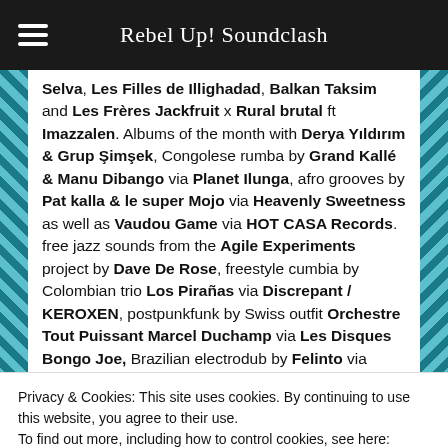Rebel Up! Soundclash
Selva, Les Filles de Illighadad, Balkan Taksim and Les Frères Jackfruit x Rural brutal ft Imazzalen. Albums of the month with Derya Yıldırım & Grup Şimşek, Congolese rumba by Grand Kallé & Manu Dibango via Planet Ilunga, afro grooves by Pat kalla & le super Mojo via Heavenly Sweetness as well as Vaudou Game via HOT CASA Records. free jazz sounds from the Agile Experiments project by Dave De Rose, freestyle cumbia by Colombian trio Los Pirañas via Discrepant / KEROXEN, postpunkfunk by Swiss outfit Orchestre Tout Puissant Marcel Duchamp via Les Disques Bongo Joe, Brazilian electrodub by Felinto via Bokeh Versions,
Privacy & Cookies: This site uses cookies. By continuing to use this website, you agree to their use.
To find out more, including how to control cookies, see here: Cookie Policy
Please update your browser or install another such